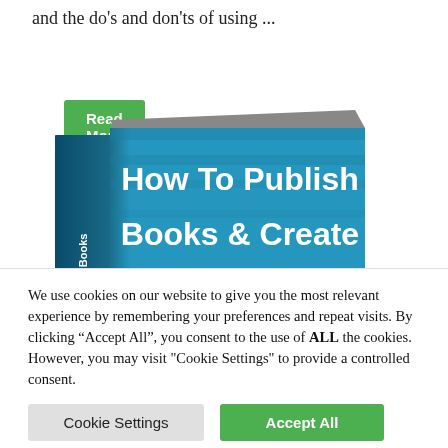and the do's and don'ts of using ...
Read More
[Figure (photo): Book cover titled 'How To Publish Books & Create Online Courses' with a teal/blue background and white bold text. The spine reads 'Publish Books'.]
We use cookies on our website to give you the most relevant experience by remembering your preferences and repeat visits. By clicking "Accept All", you consent to the use of ALL the cookies. However, you may visit "Cookie Settings" to provide a controlled consent.
Cookie Settings
Accept All